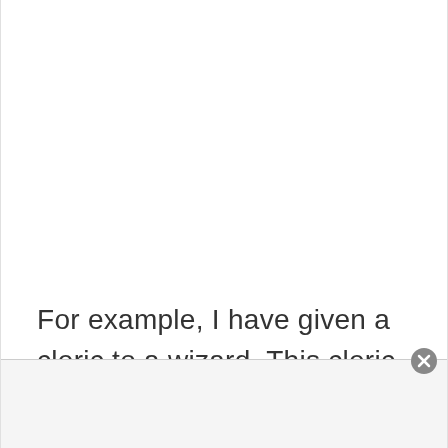For example, I have given a cleric to a wizard. This cleric was divinely told to keep the wizard